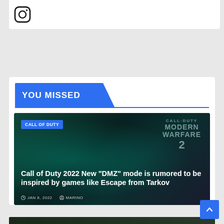[Figure (logo): Instagram icon/logo in top white card area]
YOU MISSED
[Figure (photo): Call of Duty Modern Warfare 2 promotional dark teal image with soldier silhouette]
CALL OF DUTY
Call of Duty 2022 New "DMZ" mode is rumored to be inspired by games like Escape from Tarkov
JAN 8, 2022   MARINO